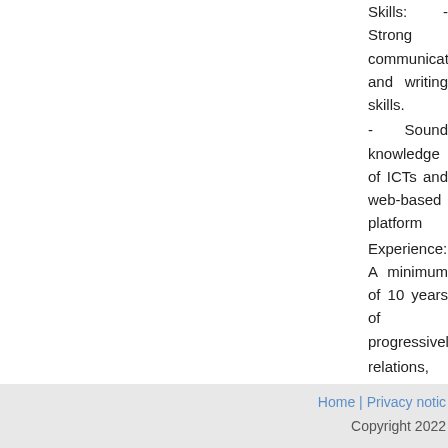Skills: - Strong communication and writing skills. - Sound knowledge of ICTs and web-based platforms. Experience: A minimum of 10 years of progressively relations, law or related area. Experience in the field - Experience working with children and youth groups - Experience working on violence against children re - Demonstrated experience on previous publications Language: Fluency in one of the working languages required; knowledge of the other is desirable. Fluency official language is an advantage.
No Fee
THE UNITED NATIONS DOES NOT CHARGE (APPLICATION, INTERVIEW MEETING, PROCESSING) CONCERN ITSELF WITH INFORMATION ON APPLICANTS' BANK
Sorry, this job
Home | Privacy notice Copyright 2022